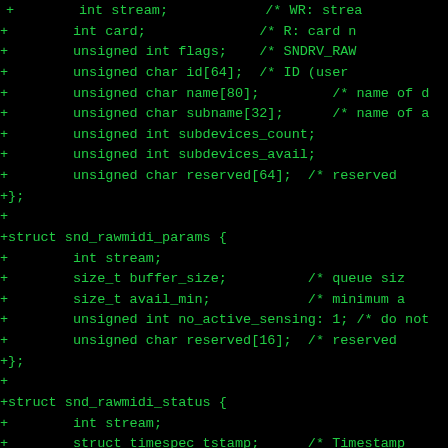[Figure (screenshot): Source code diff showing C struct definitions for snd_rawmidi_params and snd_rawmidi_status, plus #define macros for SNDRV_RAWMIDI_IOCTL constants, displayed as green monospace text on black background]